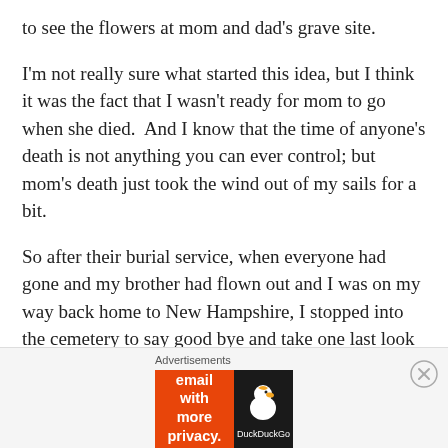to see the flowers at mom and dad's grave site.
I'm not really sure what started this idea, but I think it was the fact that I wasn't ready for mom to go when she died.  And I know that the time of anyone's death is not anything you can ever control; but mom's death just took the wind out of my sails for a bit.
So after their burial service, when everyone had gone and my brother had flown out and I was on my way back home to New Hampshire, I stopped into the cemetery to say good bye and take one last look at the flowers we had left knowing they would be gone the next time I was
Advertisements
[Figure (other): DuckDuckGo advertisement banner with orange background on left reading 'Search, browse, and email with more privacy. All in One Free App' and dark background on right with DuckDuckGo logo.]